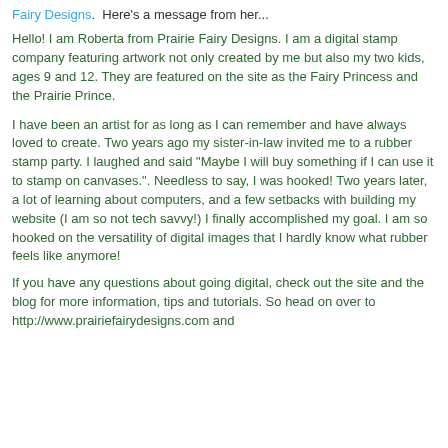Fairy Designs.  Here's a message from her...
Hello! I am Roberta from Prairie Fairy Designs. I am a digital stamp company featuring artwork not only created by me but also my two kids, ages 9 and 12. They are featured on the site as the Fairy Princess and the Prairie Prince.
I have been an artist for as long as I can remember and have always loved to create. Two years ago my sister-in-law invited me to a rubber stamp party. I laughed and said "Maybe I will buy something if I can use it to stamp on canvases.". Needless to say, I was hooked! Two years later, a lot of learning about computers, and a few setbacks with building my website (I am so not tech savvy!) I finally accomplished my goal. I am so hooked on the versatility of digital images that I hardly know what rubber feels like anymore!
If you have any questions about going digital, check out the site and the blog for more information, tips and tutorials. So head on over to http://www.prairiefairydesigns.com and